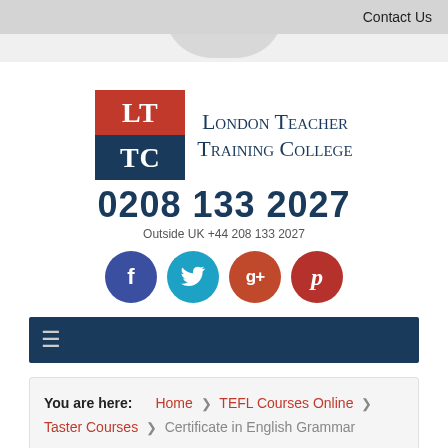Contact Us
[Figure (logo): London Teacher Training College logo with LT in red box and TC in dark blue box]
London Teacher Training College
0208 133 2027
Outside UK +44 208 133 2027
[Figure (illustration): Social media icons: Facebook (dark blue circle with f), Twitter (light blue circle with bird), Google+ (orange-red circle with g+), Pinterest (red circle with P)]
[Figure (other): Dark blue navigation bar with hamburger/menu icon]
You are here:  Home  ❯  TEFL Courses Online  ❯  Taster Courses  ❯  Certificate in English Grammar